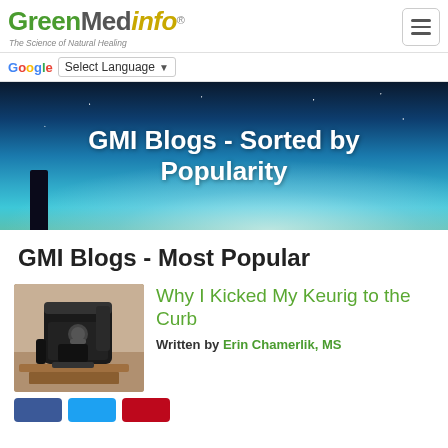[Figure (logo): GreenMedInfo logo with tagline 'The Science of Natural Healing' and hamburger menu button]
G Select Language ▼
[Figure (photo): Hero banner image with night sky/milky way background and bold white text 'GMI Blogs - Sorted by Popularity']
GMI Blogs - Sorted by Popularity
GMI Blogs - Most Popular
[Figure (photo): Thumbnail image of a Keurig coffee machine on a wooden stand]
Why I Kicked My Keurig to the Curb
Written by Erin Chamerlik, MS